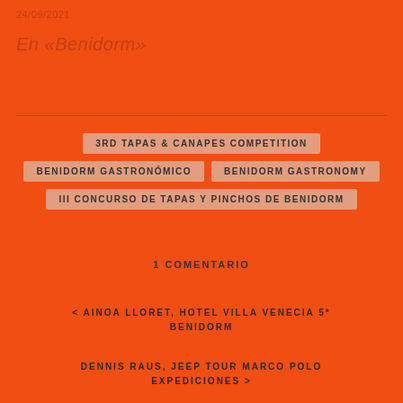24/09/2021
En «Benidorm»
3RD TAPAS & CANAPES COMPETITION
BENIDORM GASTRONÓMICO
BENIDORM GASTRONOMY
III CONCURSO DE TAPAS Y PINCHOS DE BENIDORM
1 COMENTARIO
< AINOA LLORET, HOTEL VILLA VENECIA 5* BENIDORM
DENNIS RAUS, JEEP TOUR MARCO POLO EXPEDICIONES >